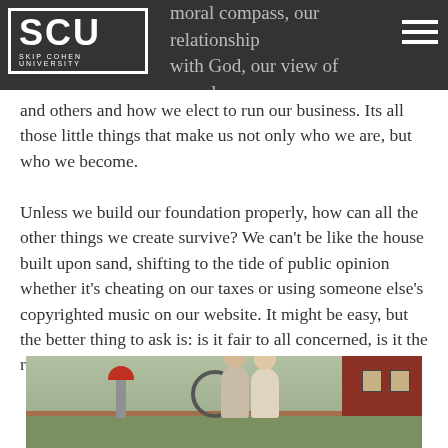SCU Skip Cohen University
moral compass, our relationship with God, our view of ourselves and others and how we elect to run our business. Its all those little things that make us not only who we are, but who we become.
Unless we build our foundation properly, how can all the other things we create survive? We can't be like the house built upon sand, shifting to the tide of public opinion whether it's cheating on our taxes or using someone else's copyrighted music on our website. It might be easy, but the better thing to ask is: is it fair to all concerned, is it the right thing to do?
[Figure (photo): A couple posing outdoors near a red barn with farm equipment including a red-topped pump, green grass in the foreground.]